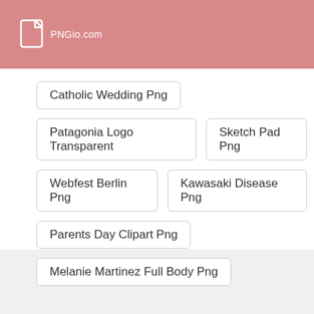PNGio.com
Catholic Wedding Png
Patagonia Logo Transparent
Sketch Pad Png
Webfest Berlin Png
Kawasaki Disease Png
Parents Day Clipart Png
Melanie Martinez Full Body Png
By using this website, you agree that we and our partners may set cookies for purposes such as customising content and advertising. I Understand